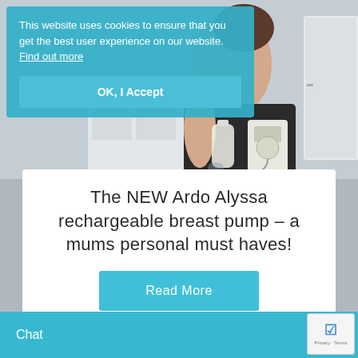[Figure (photo): A person holding or using a breast pump, photographed in a domestic setting with white furniture visible in the background.]
This website uses cookies to ensure that you get the best user experience on our website. Find out more
OK, I Accept
The NEW Ardo Alyssa rechargeable breast pump – a mums personal must haves!
Read More
Chat